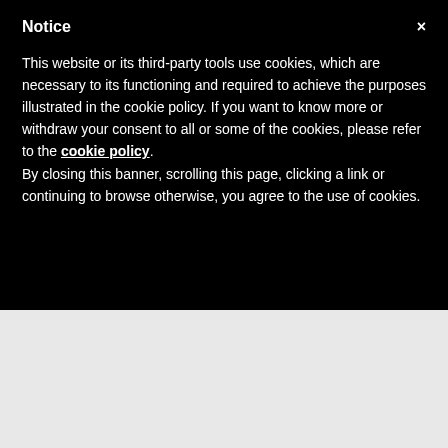Notice
This website or its third-party tools use cookies, which are necessary to its functioning and required to achieve the purposes illustrated in the cookie policy. If you want to know more or withdraw your consent to all or some of the cookies, please refer to the cookie policy.
By closing this banner, scrolling this page, clicking a link or continuing to browse otherwise, you agree to the use of cookies.
[Figure (photo): A desert landscape photo with palm trees, rocky mountains in the background, and warm hazy light — titled Mindfulness by James Bishop]
“Mindfulness” Photo by James Bishop
by James Bishop
The word “Mindfulness” means being aware of the present moment, of what’s around us and what’s